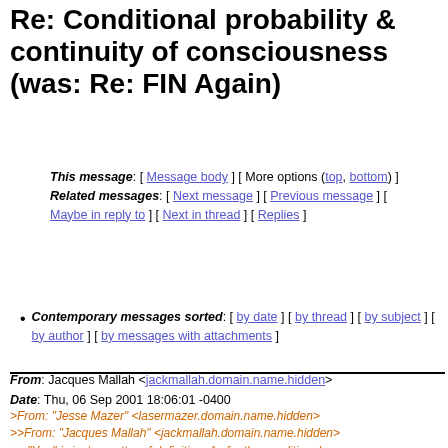Re: Conditional probability & continuity of consciousness (was: Re: FIN Again)
This message: [ Message body ] [ More options (top, bottom) ]
Related messages: [ Next message ] [ Previous message ] [ Maybe in reply to ] [ Next in thread ] [ Replies ]
Contemporary messages sorted: [ by date ] [ by thread ] [ by subject ] [ by author ] [ by messages with attachments ]
From: Jacques Mallah <jackmallah.domain.name.hidden>
Date: Thu, 06 Sep 2001 18:06:01 -0400
>From: "Jesse Mazer" <lasermazer.domain.name.hidden>
>>From: "Jacques Mallah" <jackmallah.domain.name.hidden>
>> "You" is just a matter of definition. As for the conditional
>>effective probability of an observation with characteristics A given that
>>it includes characteristics B, p(A|B), that is automatically